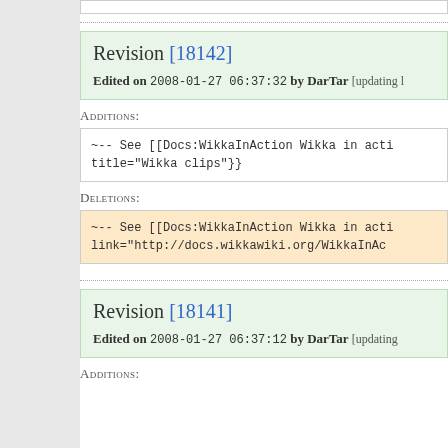Revision [18142]
Edited on 2008-01-27 06:37:32 by DarTar [updating l
Additions:
~-- See [[Docs:WikkaInAction Wikka in acti
title="Wikka clips"}}
Deletions:
~-- See [[Docs:WikkaInAction Wikka in acti
link="http://docs.wikkawiki.org/WikkaInAc
Revision [18141]
Edited on 2008-01-27 06:37:12 by DarTar [updating
Additions: